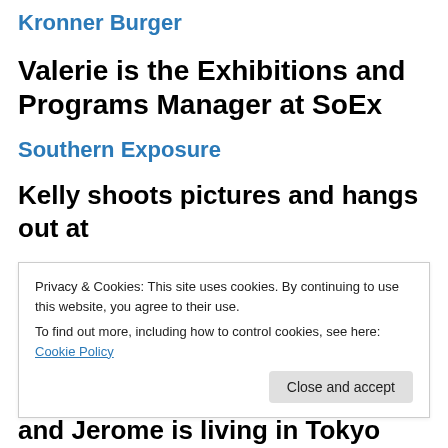Kronner Burger
Valerie is the Exhibitions and Programs Manager at SoEx
Southern Exposure
Kelly shoots pictures and hangs out at
Privacy & Cookies: This site uses cookies. By continuing to use this website, you agree to their use.
To find out more, including how to control cookies, see here: Cookie Policy
and Jerome is living in Tokyo